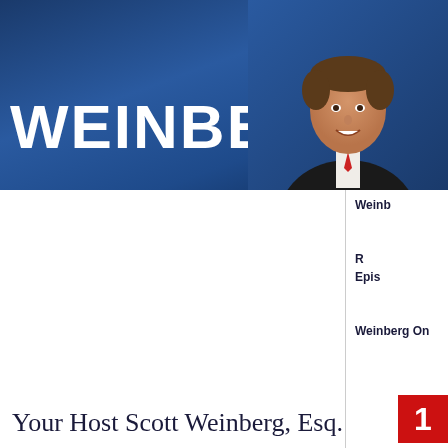[Figure (photo): Banner header with deep blue gradient background featuring large white bold text 'WEINBERG ON' and a photo of a smiling man in a dark suit on the right side]
Weinb
R
Epis
Weinberg On
Your Host Scott Weinberg, Esq.
[Figure (logo): Red square logo box with white text '1']